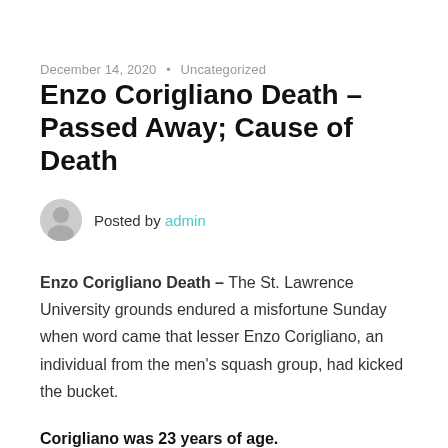December 14, 2020 • Uncategorized
Enzo Corigliano Death – Passed Away; Cause of Death
Posted by admin
Enzo Corigliano Death – The St. Lawrence University grounds endured a misfortune Sunday when word came that lesser Enzo Corigliano, an individual from the men's squash group, had kicked the bucket.
Corigliano was 23 years of age.